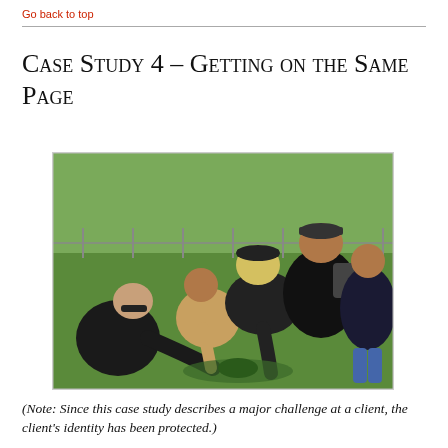Go back to top
Case Study 4 – Getting on the Same Page
[Figure (photo): Group of five people huddled together outdoors on grass, bending down and working together on something on the ground. People are wearing dark jackets and casual clothes.]
(Note: Since this case study describes a major challenge at a client, the client's identity has been protected.)